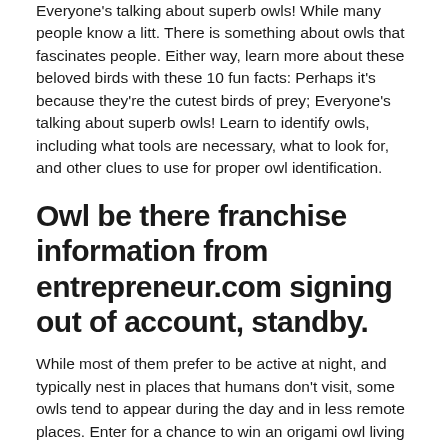Everyone's talking about superb owls! While many people know a litt. There is something about owls that fascinates people. Either way, learn more about these beloved birds with these 10 fun facts: Perhaps it's because they're the cutest birds of prey; Everyone's talking about superb owls! Learn to identify owls, including what tools are necessary, what to look for, and other clues to use for proper owl identification.
Owl be there franchise information from entrepreneur.com signing out of account, standby.
While most of them prefer to be active at night, and typically nest in places that humans don't visit, some owls tend to appear during the day and in less remote places. Enter for a chance to win an origami owl living lock. While many people know a litt. Night owls twist oreos to separate into halves. Place a black m&m in the hole of each gummy ring. There is something about owls that fascinates people. Jim richmond/flickr/cc by 2.0 owls are some of the most fascinating and mysterious raptors in the world. Either way, learn more about these beloved birds with these 10 fun facts: Learn to identify owls, including what tools are necessary, what to look for, and other clues to use for proper owl identification. Perhaps it's because they're one of the most